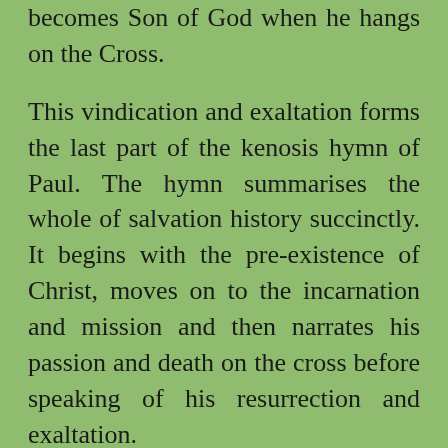becomes Son of God when he hangs on the Cross.
This vindication and exaltation forms the last part of the kenosis hymn of Paul. The hymn summarises the whole of salvation history succinctly. It begins with the pre-existence of Christ, moves on to the incarnation and mission and then narrates his passion and death on the cross before speaking of his resurrection and exaltation.
However, there is no room for any kind of triumphalism here! There is no room for a victory that does not first know the